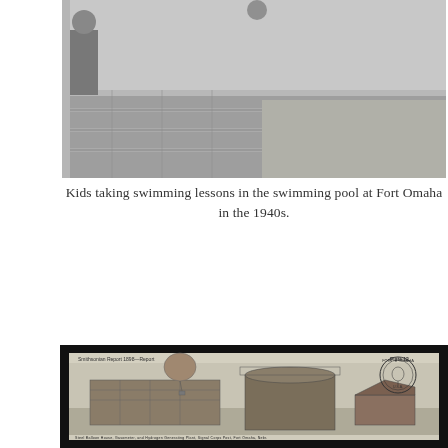[Figure (photo): Black and white photo of kids taking swimming lessons at a swimming pool, partially cropped at top. Shows people near a stone-edged pool with grass visible.]
Kids taking swimming lessons in the swimming pool at Fort Omaha in the 1940s.
[Figure (illustration): Historical illustration labeled 'Plate 12' showing Steel Balloon House, Gasometer, and Hydrogen Generating Plant, Signal Corps Post, Fort Omaha, Nebr. A balloon is visible in the sky above large industrial buildings. A Fort Omaha USA circular stamp/seal is visible in the upper right corner.]